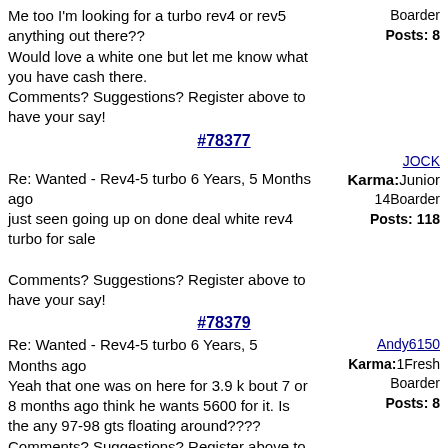Me too I'm looking for a turbo rev4 or rev5 anything out there??
Would love a white one but let me know what you have cash there.
Comments? Suggestions? Register above to have your say!
Boarder
Posts: 8
#78377
JOCK
Re: Wanted - Rev4-5 turbo 6 Years, 5 Months ago
just seen going up on done deal white rev4 turbo for sale

Comments? Suggestions? Register above to have your say!
Karma: 14
Junior Boarder
Posts: 118
#78379
Andy6150
Re: Wanted - Rev4-5 turbo 6 Years, 5 Months ago
Yeah that one was on here for 3.9 k bout 7 or 8 months ago think he wants 5600 for it. Is the any 97-98 gts floating around????
Comments? Suggestions? Register above to have your say!
Karma: 1
Fresh Boarder
Posts: 8
#78383
julo